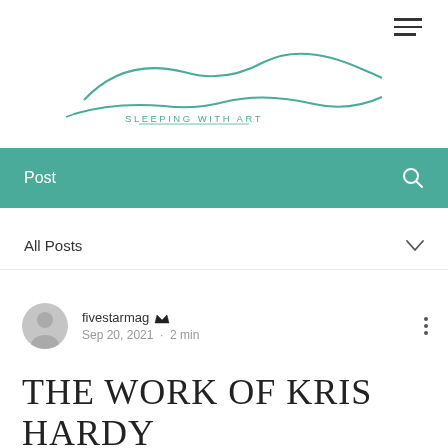[Figure (logo): Sleeping With Art logo — wavy teal lines resembling a car silhouette with text 'SLEEPING WITH ART' below]
Post
All Posts
fivestarmag  Sep 20, 2021 · 2 min
THE WORK OF KRIS HARDY